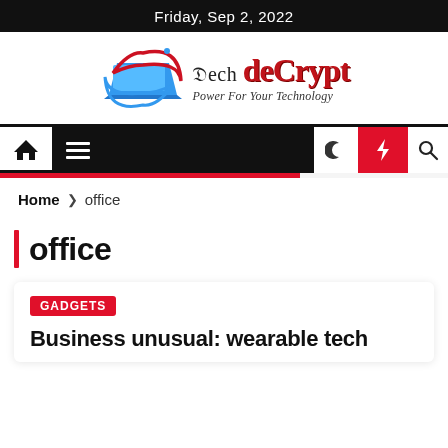Friday, Sep 2, 2022
[Figure (logo): Tech deCrypt logo with laptop icon and tagline 'Power For Your Technology']
[Figure (screenshot): Navigation bar with home icon, hamburger menu, dark mode, flash, and search icons]
Home > office
office
GADGETS
Business unusual: wearable tech